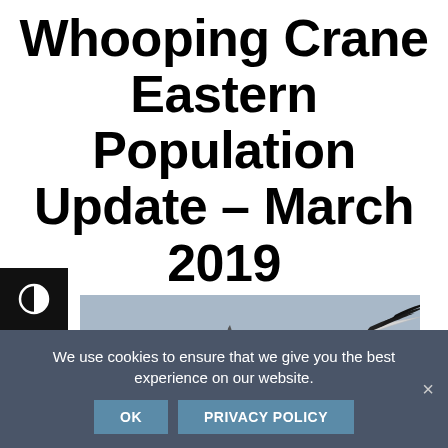Whooping Crane Eastern Population Update – March 2019
[Figure (photo): A whooping crane in flight photographed from below, showing white plumage with black wing tips against a grey-blue sky]
We use cookies to ensure that we give you the best experience on our website.
OK   PRIVACY POLICY